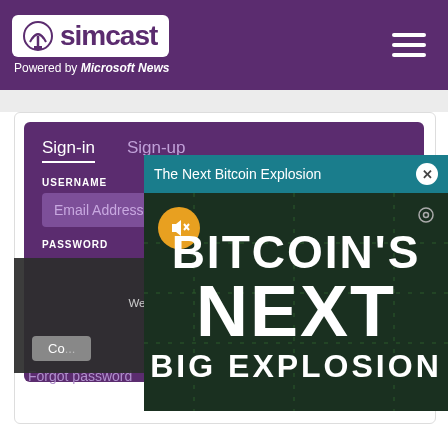[Figure (logo): Simcast logo with antenna icon, white on purple background, with 'Powered by Microsoft News' tagline]
[Figure (screenshot): Sign-in form with USERNAME and EMAIL ADDRESS fields on purple background, with Sign-in and Sign-up tabs]
[Figure (screenshot): Ad overlay: 'The Next Bitcoin Explosion' with BITCOIN'S NEXT BIG EXPLOSION text on dark green background]
This we... We use them to give you the be... will assume that you are...
Forgot password